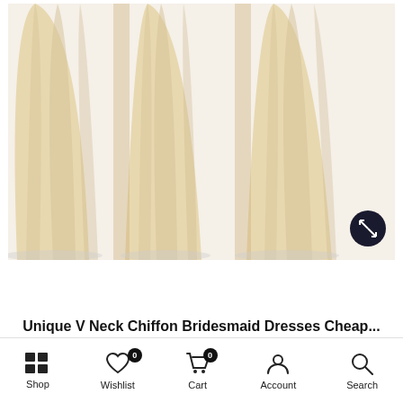[Figure (photo): Close-up photo of three champagne/nude chiffon bridesmaid dress skirts hanging or displayed side by side, showing flowing fabric from waist down to floor.]
Unique V Neck Chiffon Bridesmaid Dresses Cheap...
[Figure (screenshot): Bottom navigation bar with Shop, Wishlist (badge 0), Cart (badge 0), Account, and Search icons and labels.]